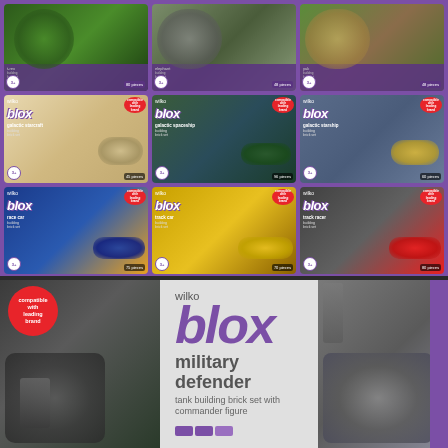[Figure (photo): Grid of 9 Wilko Blox building brick set product boxes arranged in 3 rows of 3. Top row: T-Rex (80 pieces), Elephant (48 pieces), Yak (48 pieces) animal sets. Middle row: Galactic Starcraft (45 pieces), Galactic Spaceship (96 pieces), Galactic Starship (60 pieces). Bottom row: Race Car (75 pieces), Track Car (70 pieces), Track Racer (80 pieces). All boxes show 'compatible with leading brand' badge and age 3+. Below is a large Wilko Blox 'military defender' tank building brick set with commander figure box.]